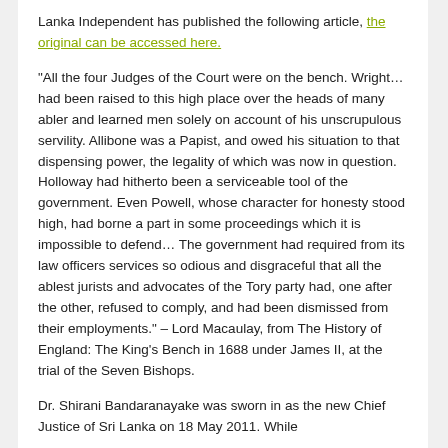Lanka Independent has published the following article, the original can be accessed here.
"All the four Judges of the Court were on the bench. Wright… had been raised to this high place over the heads of many abler and learned men solely on account of his unscrupulous servility. Allibone was a Papist, and owed his situation to that dispensing power, the legality of which was now in question. Holloway had hitherto been a serviceable tool of the government. Even Powell, whose character for honesty stood high, had borne a part in some proceedings which it is impossible to defend… The government had required from its law officers services so odious and disgraceful that all the ablest jurists and advocates of the Tory party had, one after the other, refused to comply, and had been dismissed from their employments." – Lord Macaulay, from The History of England: The King's Bench in 1688 under James II, at the trial of the Seven Bishops.
Dr. Shirani Bandaranayake was sworn in as the new Chief Justice of Sri Lanka on 18 May 2011. While